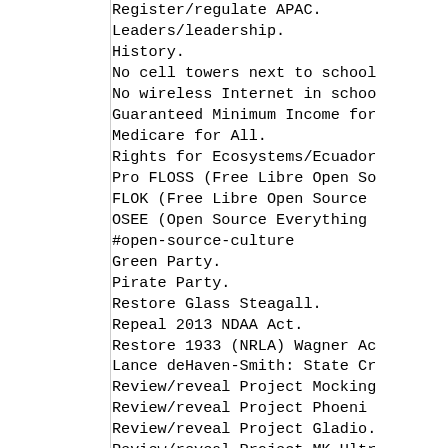Register/regulate APAC.
Leaders/leadership.
History.
No cell towers next to school
No wireless Internet in schoo
Guaranteed Minimum Income for
Medicare for All.
Rights for Ecosystems/Ecuador
Pro FLOSS (Free Libre Open So
FLOK (Free Libre Open Source
OSEE (Open Source Everything
#open-source-culture
Green Party.
Pirate Party.
Restore Glass Steagall.
Repeal 2013 NDAA Act.
Restore 1933 (NRLA) Wagner Ac
Lance deHaven-Smith: State Cr
Review/reveal Project Mocking
Review/reveal Project Phoeni
Review/reveal Project Gladio.
Review/reveal Project MK-Ultr
Review/reveal Project Condor.
Anti 'Right to Work' (for les